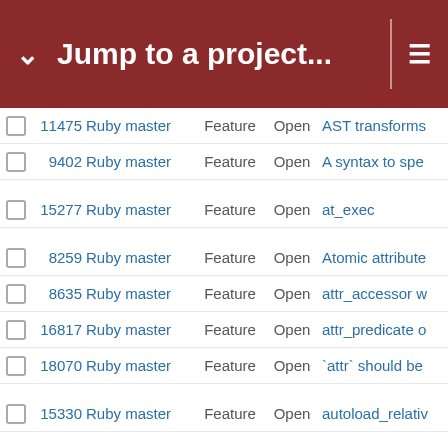Jump to a project...
|  | # | Project | Type | Status | Subject |
| --- | --- | --- | --- | --- | --- |
|  | 11475 | Ruby master | Feature | Open | AST transforms... |
|  | 9402 | Ruby master | Feature | Open | A syntax to spe... |
|  | 15277 | Ruby master | Feature | Open | at_exec |
|  | 8259 | Ruby master | Feature | Open | Atomic attribute... |
|  | 8635 | Ruby master | Feature | Open | attr_accessor w... |
|  | 16817 | Ruby master | Feature | Open | attr_predicate o... |
|  | 18070 | Ruby master | Feature | Open | `attr` should be... |
|  | 15330 | Ruby master | Feature | Open | autoload_relativ... |
|  | 11415 | Ruby master | Feature | Open | autoload with a... |
|  | 15458 | Ruby master | Feature | Open | Automatic Exce... |
|  | 16005 | Ruby master | Feature | Open | A variation of Ti... |
|  | 8184 | Ruby master | Feature | Open | Avoid the creati... |
|  | 13006 | Ruby master | Feature | Open | backtrace of th... |
|  | 10634 | Ruby master | Feature | Open | Baselining with... |
|  | 16671 | Ruby master | Misc | Open | BASERUBY ve... |
|  | 16185 | Ruby master | Bug | Open | basictest failure... |